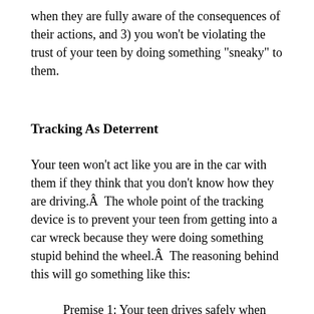when they are fully aware of the consequences of their actions, and 3) you won't be violating the trust of your teen by doing something “sneaky” to them.
Tracking As Deterrent
Your teen won’t act like you are in the car with them if they think that you don’t know how they are driving.Â  The whole point of the tracking device is to prevent your teen from getting into a car wreck because they were doing something stupid behind the wheel.Â  The reasoning behind this will go something like this:
Premise 1: Your teen drives safely when you are in the car with them.
Premise 2: Your teen, at times, drives unsafely